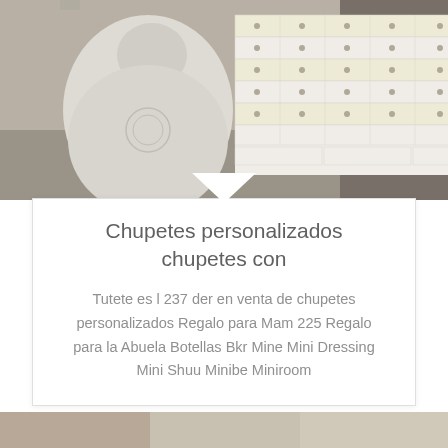[Figure (photo): Photo of a white multi-drawer chest/cabinet unit with many small drawers, next to a large white fabric sack, in what appears to be a store or warehouse setting.]
Chupetes personalizados chupetes con
Tutete es l 237 der en venta de chupetes personalizados Regalo para Mam 225 Regalo para la Abuela Botellas Bkr Mine Mini Dressing Mini Shuu Minibe Miniroom
[Figure (photo): Partial photo visible at the bottom of the page.]